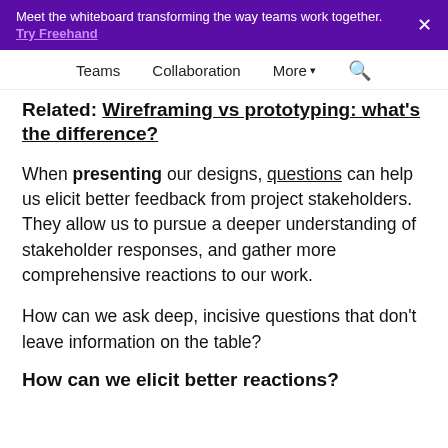Meet the whiteboard transforming the way teams work together. Try Freehand
Teams  Collaboration  More  🔍
Related: Wireframing vs prototyping: what's the difference?
When presenting our designs, questions can help us elicit better feedback from project stakeholders. They allow us to pursue a deeper understanding of stakeholder responses, and gather more comprehensive reactions to our work.
How can we ask deep, incisive questions that don't leave information on the table?
How can we elicit better reactions?